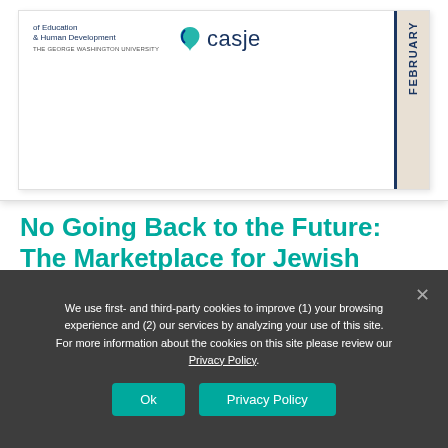[Figure (illustration): Document cover preview showing logos: 'of Education & Human Development / THE GEORGE WASHINGTON UNIVERSITY' on left, CASJE logo with teal/blue icon in center, and a right sidebar with dark navy border and beige background showing 'FEBRUARY' rotated vertically.]
No Going Back to the Future: The Marketplace for Jewish Educators 18 Months into the COVID-19 Pandemic
March 2022
We use first- and third-party cookies to improve (1) your browsing experience and (2) our services by analyzing your use of this site. For more information about the cookies on this site please review our Privacy Policy.
Ok
Privacy Policy